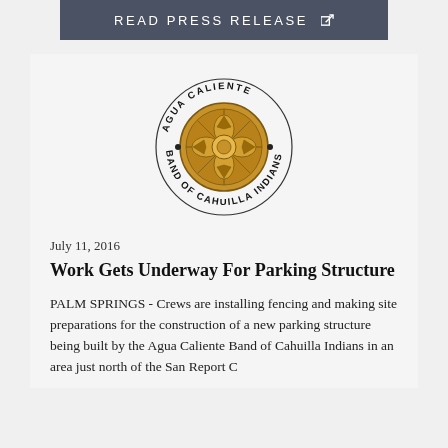READ PRESS RELEASE
[Figure (logo): Agua Caliente Band of Cahuilla Indians circular seal/logo with decorative basket weave pattern in center]
July 11, 2016
Work Gets Underway For Parking Structure
PALM SPRINGS - Crews are installing fencing and making site preparations for the construction of a new parking structure being built by the Agua Caliente Band of Cahuilla Indians in an area just north of the San Report C...